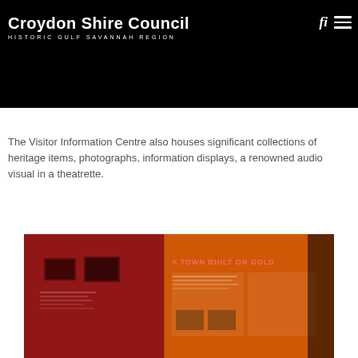Croydon Shire Council — HISTORIC GULF SAVANNAH REGION
[Figure (photo): Header photo of a town centre with metal structures and trees, Croydon Shire Council website header]
The Visitor Information Centre also houses significant collections of heritage items, photographs, information displays, a renowned audio visual in a theatrette.
[Figure (photo): Interior photo of an exhibition hall with red and orange walls showing heritage displays and panels with text 'A TOWN BUILT ON GOLD']